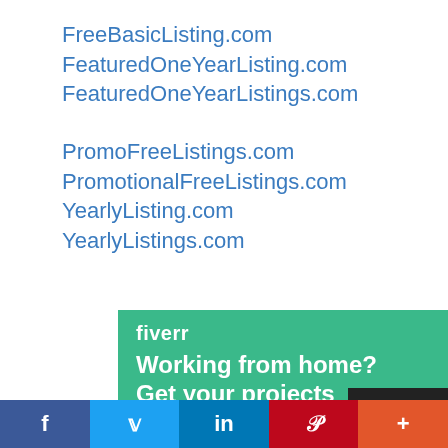FreeBasicListing.com
FeaturedOneYearListing.com
FeaturedOneYearListings.com
PromoFreeListings.com
PromotionalFreeListings.com
YearlyListing.com
YearlyListings.com
[Figure (infographic): Fiverr advertisement: green background with fiverr logo, text 'Working from home? Get your projects done on Fiverr.' and a 'Hire Freelancers' button]
[Figure (infographic): Social sharing bar with Facebook (blue), Twitter (light blue), LinkedIn (dark blue), Pinterest (red), and More (orange) buttons]